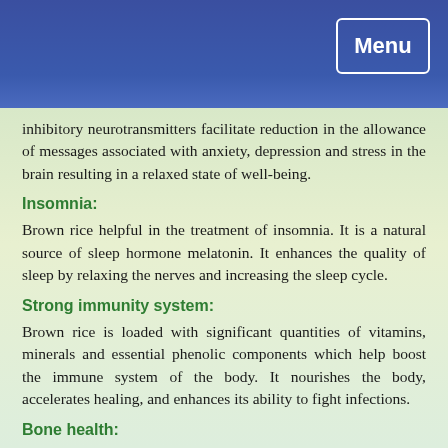Menu
inhibitory neurotransmitters facilitate reduction in the allowance of messages associated with anxiety, depression and stress in the brain resulting in a relaxed state of well-being.
Insomnia:
Brown rice helpful in the treatment of insomnia. It is a natural source of sleep hormone melatonin. It enhances the quality of sleep by relaxing the nerves and increasing the sleep cycle.
Strong immunity system:
Brown rice is loaded with significant quantities of vitamins, minerals and essential phenolic components which help boost the immune system of the body. It nourishes the body, accelerates healing, and enhances its ability to fight infections.
Bone health:
Brown rice is helpful in the maintenance of healthy bones. It is rich in magnesium which along calcium provides the bones their